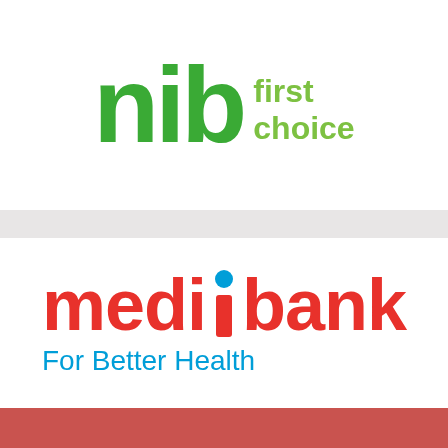[Figure (logo): nib first choice logo — green bold lowercase 'nib' with green 'first choice' tagline text to the right]
[Figure (logo): medibank For Better Health logo — red bold 'medibank' with blue 'i' dot, blue tagline 'For Better Health']